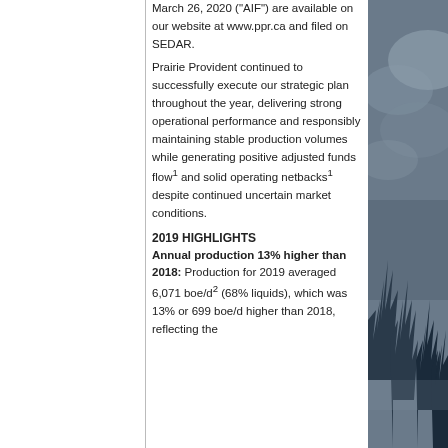March 26, 2020 (“AIF”) are available on our website at www.ppr.ca and filed on SEDAR.
Prairie Provident continued to successfully execute our strategic plan throughout the year, delivering strong operational performance and responsibly maintaining stable production volumes while generating positive adjusted funds flow1 and solid operating netbacks1 despite continued uncertain market conditions.
2019 HIGHLIGHTS
Annual production 13% higher than 2018: Production for 2019 averaged 6,071 boe/d2 (68% liquids), which was 13% or 699 boe/d higher than 2018, reflecting the